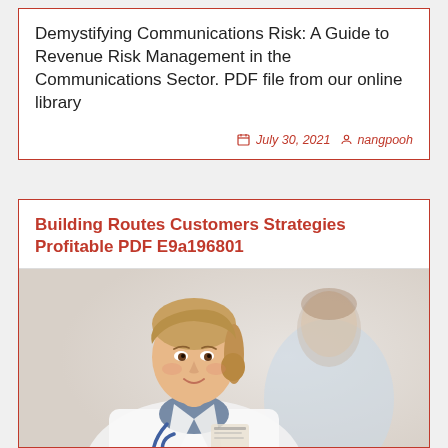Demystifying Communications Risk: A Guide to Revenue Risk Management in the Communications Sector. PDF file from our online library
July 30, 2021  nangpooh
Building Routes Customers Strategies Profitable PDF E9a196801
[Figure (photo): A female doctor in a white coat with a stethoscope smiling at the camera in the foreground; a male patient in a light blue shirt is blurred in the background.]